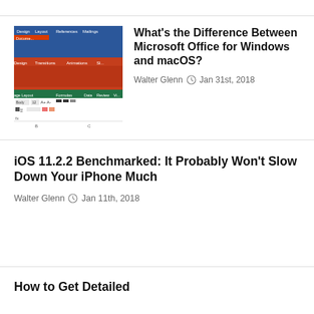[Figure (screenshot): Screenshot showing Microsoft Office ribbon interfaces for Word, PowerPoint, and Excel on Windows and macOS]
What's the Difference Between Microsoft Office for Windows and macOS?
Walter Glenn  Jan 31st, 2018
iOS 11.2.2 Benchmarked: It Probably Won't Slow Down Your iPhone Much
Walter Glenn  Jan 11th, 2018
How to Get Detailed Information About Your Da...